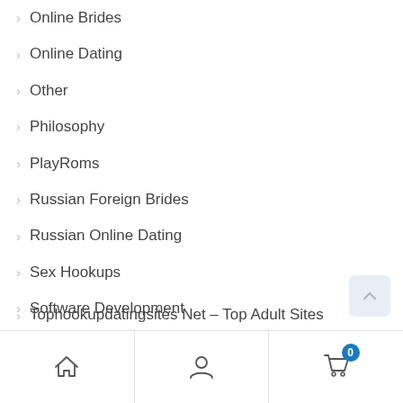Online Brides
Online Dating
Other
Philosophy
PlayRoms
Russian Foreign Brides
Russian Online Dating
Sex Hookups
Software Development
Teaching
Tophookupdatingsites Net – Top Adult Sites